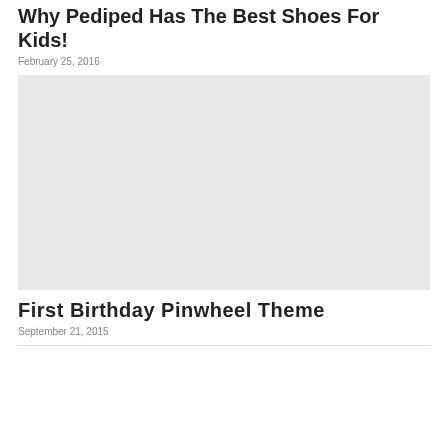Why Pediped Has The Best Shoes For Kids!
February 25, 2016
[Figure (photo): Placeholder image (light gray rectangle) for Pediped shoes article]
First Birthday Pinwheel Theme
September 21, 2015